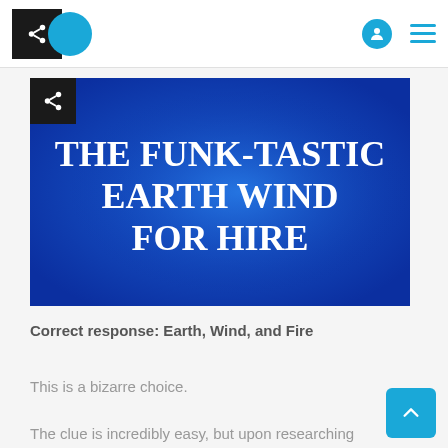[Figure (screenshot): Blue background image with bold white serif text reading 'THE FUNK-TASTIC EARTH WIND FOR HIRE', with a share button overlay in the top-left corner]
Correct response: Earth, Wind, and Fire
This is a bizarre choice.
The clue is incredibly easy, but upon researching